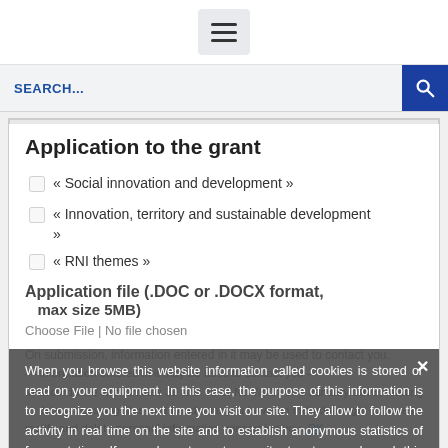Navigation menu icon
SEARCH...
Application to the grant
« Social innovation and development »
« Innovation, territory and sustainable development »
« RNI themes »
Application file (.DOC or .DOCX format, max size 5MB)
Choose File | No file chosen
When you browse this website information called cookies is stored or read on your equipment. In this case, the purpose of this information is to recognize you the next time you visit our site. They allow to follow the activity in real time on the site and to establish anonymous statistics of frequentation. If you do not want our site to store and read this information, you can disable cookies in your browser, the procedure is indicated on the CNIL site (https://70-17.of.6 january.b).
In accordance with articles 39 and 40 of No 78-17 of 6 January 1978, relating to data processing files and freedoms, you have an individual right to access, rectify and delete personal information concerning you.